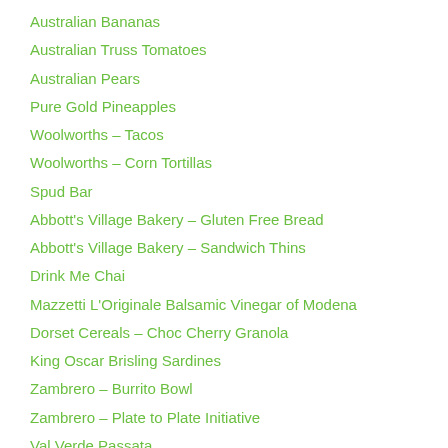Australian Bananas
Australian Truss Tomatoes
Australian Pears
Pure Gold Pineapples
Woolworths – Tacos
Woolworths – Corn Tortillas
Spud Bar
Abbott's Village Bakery – Gluten Free Bread
Abbott's Village Bakery – Sandwich Thins
Drink Me Chai
Mazzetti L'Originale Balsamic Vinegar of Modena
Dorset Cereals – Choc Cherry Granola
King Oscar Brisling Sardines
Zambrero – Burrito Bowl
Zambrero – Plate to Plate Initiative
Val Verde Passata
Tilda – Peri Peri Basmati Rice
Lipton -Ice Green Tea with a hint of Matcha